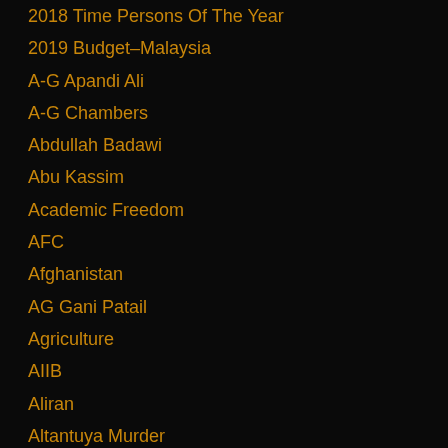2018 Time Persons Of The Year
2019 Budget–Malaysia
A-G Apandi Ali
A-G Chambers
Abdullah Badawi
Abu Kassim
Academic Freedom
AFC
Afghanistan
AG Gani Patail
Agriculture
AIIB
Aliran
Altantuya Murder
Amanah
American Politics
Anas Alam Faizli
Angela Merkel–Germany
Angkor Wat
Anwar Ibrahim